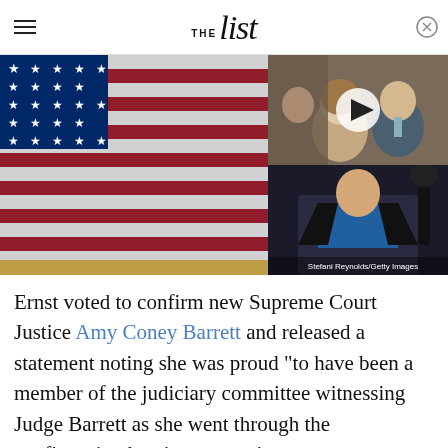THE list
[Figure (photo): American flag close-up with gold fringe, stars visible in upper left]
[Figure (photo): Princess Diana and Prince Charles, with a video play button overlay]
[Figure (photo): Amy Coney Barrett at microphones wearing blue top and black jacket. Credit: Stefani Reynolds/Getty Images]
Ernst voted to confirm new Supreme Court Justice Amy Coney Barrett and released a statement noting she was proud "to have been a member of the judiciary committee witnessing Judge Barrett as she went through the confirmation hearing committee turns